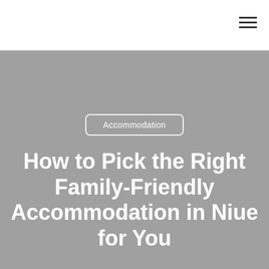Accommodation
How to Pick the Right Family-Friendly Accommodation in Niue for You